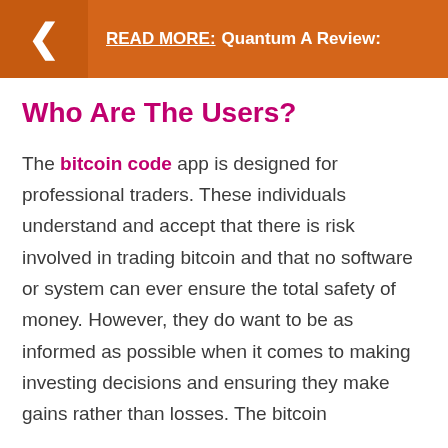READ MORE: Quantum A Review:
Who Are The Users?
The bitcoin code app is designed for professional traders. These individuals understand and accept that there is risk involved in trading bitcoin and that no software or system can ever ensure the total safety of money. However, they do want to be as informed as possible when it comes to making investing decisions and ensuring they make gains rather than losses. The bitcoin